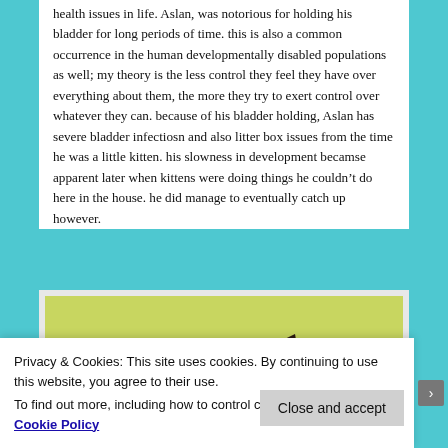health issues in life.  Aslan, was notorious for holding his bladder for long periods of time.  this is also a common occurrence in the human developmentally disabled populations as well; my theory is the less control they feel they have over everything about them, the more they try to exert control over whatever they can.  because of his bladder holding, Aslan has severe bladder infectiosn and also litter box issues from the time he was a little kitten.  his slowness in development becamse apparent later when kittens were doing things he couldn't do here in the house.  he did manage to eventually catch up however.
[Figure (photo): Partial top view of a dark-colored cat's head (ears and top of head visible) against a light green background, cropped at bottom of frame.]
Privacy & Cookies: This site uses cookies. By continuing to use this website, you agree to their use.
To find out more, including how to control cookies, see here: Cookie Policy